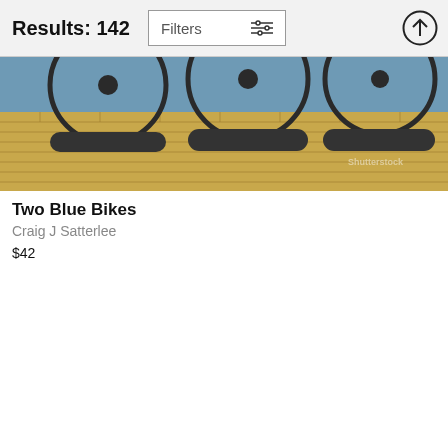Results: 142
Filters
[Figure (photo): Cropped photo of two blue bicycles parked against a blue wall, showing wheel bottoms resting on yellow patterned brick pavement. Partially visible watermark text in lower right.]
Two Blue Bikes
Craig J Satterlee
$42